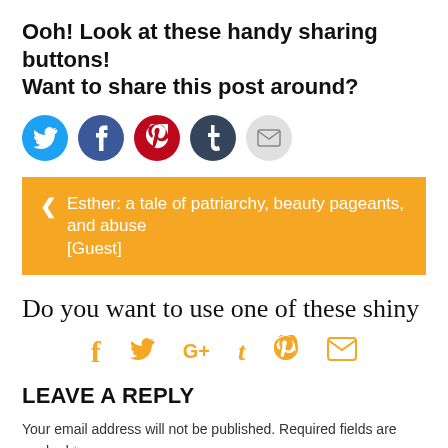Ooh! Look at these handy sharing buttons! Want to share this post around?
[Figure (infographic): Five circular social sharing buttons: Twitter (blue), Facebook (blue), Pinterest (red), Tumblr (dark blue), Email (grey)]
< Esther: a tale of patriarchy, beauty pageants, and abuse [Guest]
Do you want to use one of these shiny sharin
[Figure (infographic): Six orange social media icons: f (Facebook), bird (Twitter), G+ (Google Plus), t (Tumblr), circle-P (Pinterest), envelope (Email)]
LEAVE A REPLY
Your email address will not be published. Required fields are marked *